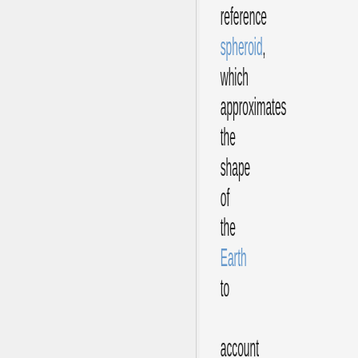reference spheroid, which approximates the shape of the Earth to account for flattening of the poles